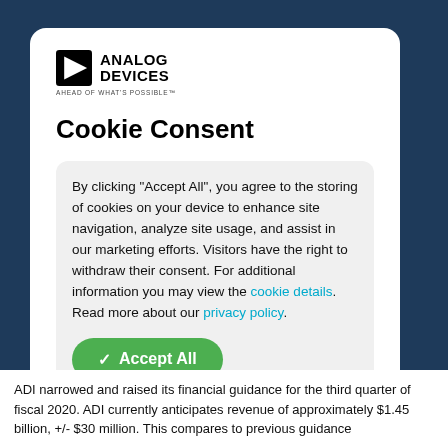[Figure (logo): Analog Devices logo with triangle play-button icon and tagline 'AHEAD OF WHAT'S POSSIBLE']
Cookie Consent
By clicking “Accept All”, you agree to the storing of cookies on your device to enhance site navigation, analyze site usage, and assist in our marketing efforts. Visitors have the right to withdraw their consent. For additional information you may view the cookie details. Read more about our privacy policy.
✓ Accept All
ADI narrowed and raised its financial guidance for the third quarter of fiscal 2020. ADI currently anticipates revenue of approximately $1.45 billion, +/- $30 million. This compares to previous guidance